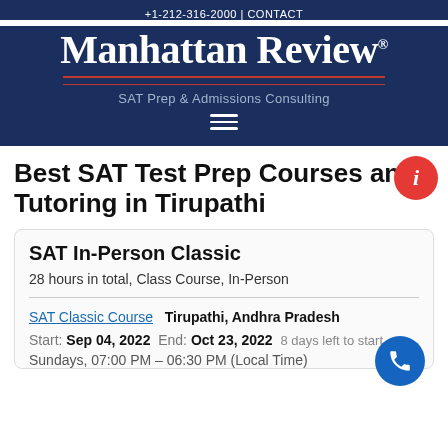+1-212-316-2000 | CONTACT
[Figure (logo): Manhattan Review logo with registered trademark, SAT Prep & Admissions Consulting tagline, on dark blue background]
Best SAT Test Prep Courses and Tutoring in Tirupathi
SAT In-Person Classic
28 hours in total, Class Course, In-Person
SAT Classic Course  Tirupathi, Andhra Pradesh
Start: Sep 04, 2022  End: Oct 23, 2022  8 days left to start
Sundays, 07:00 PM – 06:30 PM (Local Time)